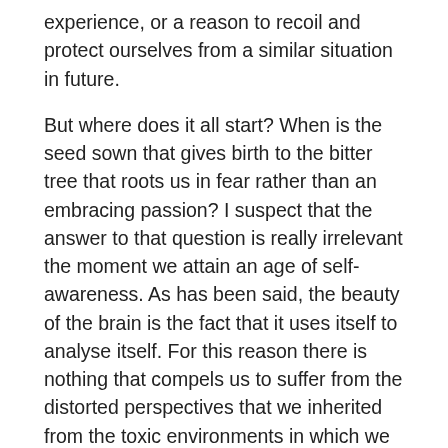experience, or a reason to recoil and protect ourselves from a similar situation in future.
But where does it all start? When is the seed sown that gives birth to the bitter tree that roots us in fear rather than an embracing passion? I suspect that the answer to that question is really irrelevant the moment we attain an age of self-awareness. As has been said, the beauty of the brain is the fact that it uses itself to analyse itself. For this reason there is nothing that compels us to suffer from the distorted perspectives that we inherited from the toxic environments in which we may have been raised. Unless there is a desire to achieve more, we will always hold on to less. That desire is based entirely on choices we make, but the choices we make are directly related to our frame of reference that we choose for ourselves.